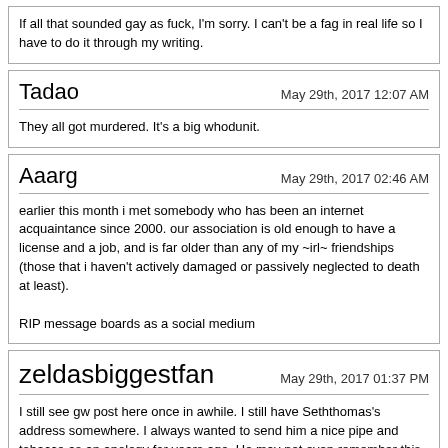If all that sounded gay as fuck, I'm sorry. I can't be a fag in real life so I have to do it through my writing.
Tadao
May 29th, 2017 12:07 AM
They all got murdered. It's a big whodunit.
Aaarg
May 29th, 2017 02:46 AM
earlier this month i met somebody who has been an internet acquaintance since 2000. our association is old enough to have a license and a job, and is far older than any of my ~irl~ friendships (those that i haven't actively damaged or passively neglected to death at least).

RIP message boards as a social medium
zeldasbiggestfan
May 29th, 2017 01:37 PM
I still see gw post here once in awhile. I still have Seththomas's address somewhere. I always wanted to send him a nice pipe and tobacco as an apology for years ago. He may not even remember this place.

I love you, bitches. All of ya.